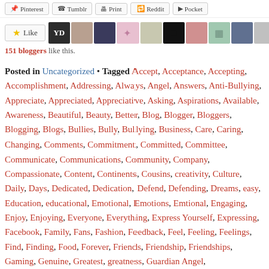[Figure (other): Social share buttons bar: Pinterest, Tumblr, Print, Reddit, Pocket]
[Figure (other): Like button with star icon and row of blogger avatar thumbnails]
151 bloggers like this.
Posted in Uncategorized • Tagged Accept, Acceptance, Accepting, Accomplishment, Addressing, Always, Angel, Answers, Anti-Bullying, Appreciate, Appreciated, Appreciative, Asking, Aspirations, Available, Awareness, Beautiful, Beauty, Better, Blog, Blogger, Bloggers, Blogging, Blogs, Bullies, Bully, Bullying, Business, Care, Caring, Changing, Comments, Commitment, Committed, Committee, Communicate, Communications, Community, Company, Compassionate, Content, Continents, Cousins, creativity, Culture, Daily, Days, Dedicated, Dedication, Defend, Defending, Dreams, easy, Education, educational, Emotional, Emotions, Emtional, Engaging, Enjoy, Enjoying, Everyone, Everything, Express Yourself, Expressing, Facebook, Family, Fans, Fashion, Feedback, Feel, Feeling, Feelings, Find, Finding, Food, Forever, Friends, Friendship, Friendships, Gaming, Genuine, Greatest, greatness, Guardian Angel,